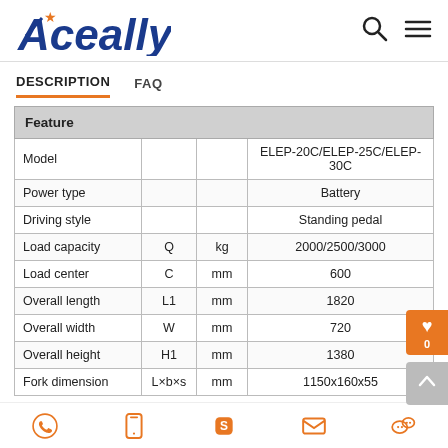Aceally
DESCRIPTION   FAQ
| Feature |  |  |  |
| --- | --- | --- | --- |
| Model |  |  | ELEP-20C/ELEP-25C/ELEP-30C |
| Power type |  |  | Battery |
| Driving style |  |  | Standing pedal |
| Load capacity | Q | kg | 2000/2500/3000 |
| Load center | C | mm | 600 |
| Overall length | L1 | mm | 1820 |
| Overall width | W | mm | 720 |
| Overall height | H1 | mm | 1380 |
| Fork dimension | L×b×s | mm | 1150x160x55 |
WhatsApp | Phone | Skype | Email | WeChat